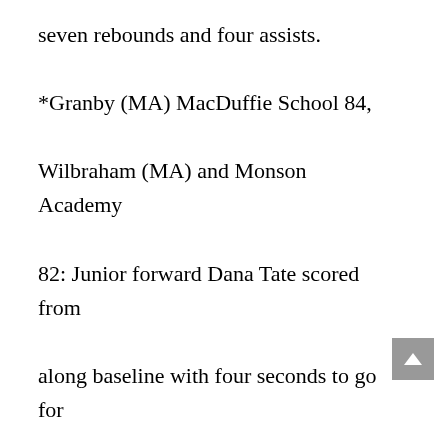seven rebounds and four assists.

*Granby (MA) MacDuffie School 84, Wilbraham (MA) and Monson Academy 82: Junior forward Dana Tate scored from along baseline with four seconds to go for the go-ahead, and winning, points.

Tate scored 27 points and grabbed 11 rebounds.